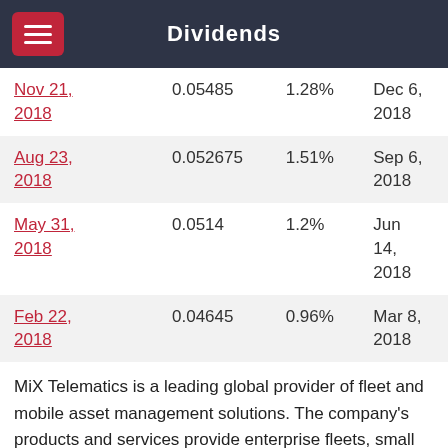Dividends
| Date | Amount | Yield | Pay Date |
| --- | --- | --- | --- |
| Nov 21, 2018 | 0.05485 | 1.28% | Dec 6, 2018 |
| Aug 23, 2018 | 0.052675 | 1.51% | Sep 6, 2018 |
| May 31, 2018 | 0.0514 | 1.2% | Jun 14, 2018 |
| Feb 22, 2018 | 0.04645 | 0.96% | Mar 8, 2018 |
MiX Telematics is a leading global provider of fleet and mobile asset management solutions. The company's products and services provide enterprise fleets, small fleets and consumers with solutions for safety, efficiency, compliance and security. MiX